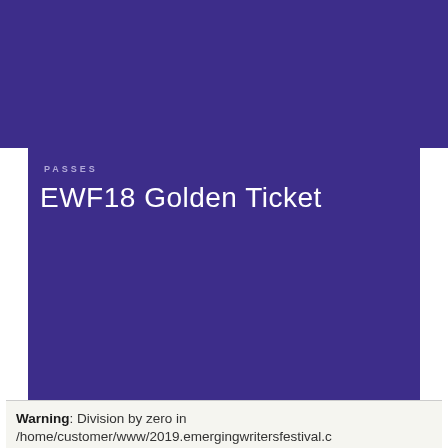EMERGING 19
PASSES
EWF18 Golden Ticket
Warning: Division by zero in /home/customer/www/2019.emergingwritersfestival.c